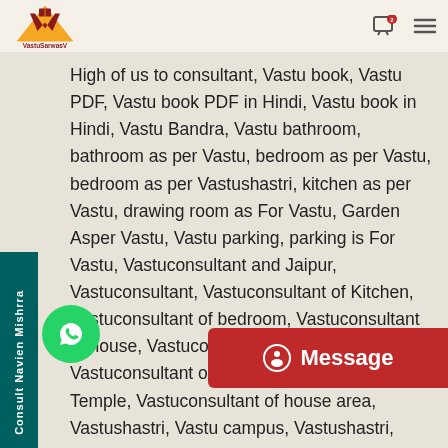VastuSarwasV
High of us to consultant, Vastu book, Vastu PDF, Vastu book PDF in Hindi, Vastu book in Hindi, Vastu Bandra, Vastu bathroom, bathroom as per Vastu, bedroom as per Vastu, bedroom as per Vastushastri, kitchen as per Vastu, drawing room as For Vastu, Garden Asper Vastu, Vastu parking, parking is For Vastu, Vastuconsultant and Jaipur, Vastuconsultant, Vastuconsultant of Kitchen, Vastuconsultant of bedroom, Vastuconsultant of house, Vastuconsultant of residential area, Vastuconsultant of City, Vastuconsultant of Temple, Vastuconsultant of house area, Vastushastri, Vastu campus, Vastushastri, Vastuconsultant and India, Vasu content, Vasu connect,